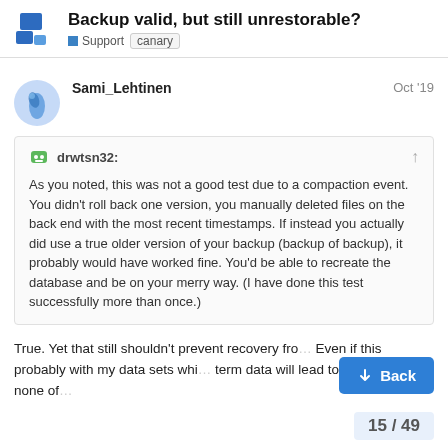Backup valid, but still unrestorable?
Support   canary
Sami_Lehtinen   Oct '19
drwtsn32: As you noted, this was not a good test due to a compaction event. You didn't roll back one version, you manually deleted files on the back end with the most recent timestamps. If instead you actually did use a true older version of your backup (backup of backup), it probably would have worked fine. You'd be able to recreate the database and be on your merry way. (I have done this test successfully more than once.)
True. Yet that still shouldn't prevent recovery fro... Even if this probably with my data sets whi... term data will lead to situation that none of... completely intact. Yet, even in this case, to...
Back
15 / 49